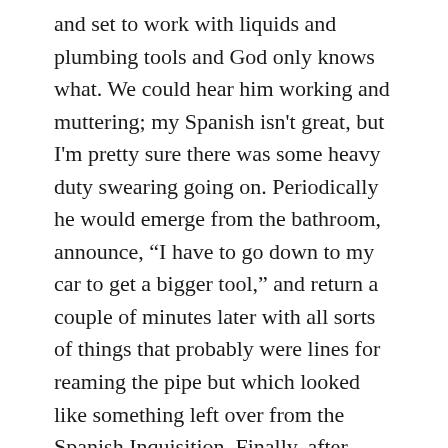and set to work with liquids and plumbing tools and God only knows what. We could hear him working and muttering; my Spanish isn't great, but I'm pretty sure there was some heavy duty swearing going on. Periodically he would emerge from the bathroom, announce, "I have to go down to my car to get a bigger tool," and return a couple of minutes later with all sorts of things that probably were lines for reaming the pipe but which looked like something left over from the Spanish Inquisition. Finally, after about an hour, Domingo came out of the bathroom with a huge smile on his face. "Forty years! I think no one has cleaned this line in 40 years!" He gestured for us to come look. A wad of what looked like hairball that a woolly mammoth would cough up lay on the floor. Having